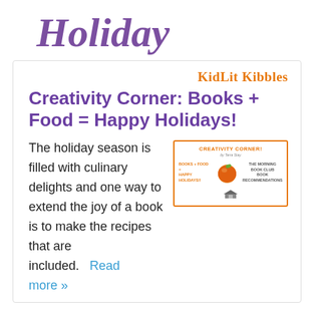Holiday
KidLit Kibbles
Creativity Corner: Books + Food = Happy Holidays!
[Figure (illustration): Thumbnail image for Creativity Corner article showing an orange pumpkin/fruit with text 'CREATIVITY CORNER! Books + Food = Happy Holidays!!' and 'THE MORNING BOOK CLUB BOOK RECOMMENDATIONS' in an orange-bordered box]
The holiday season is filled with culinary delights and one way to extend the joy of a book is to make the recipes that are included.   Read more »